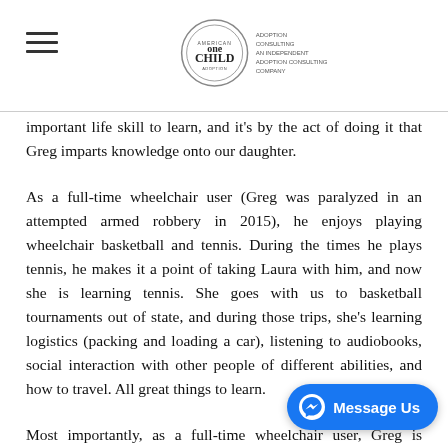One Child logo and hamburger menu
important life skill to learn, and it's by the act of doing it that Greg imparts knowledge onto our daughter.
As a full-time wheelchair user (Greg was paralyzed in an attempted armed robbery in 2015), he enjoys playing wheelchair basketball and tennis. During the times he plays tennis, he makes it a point of taking Laura with him, and now she is learning tennis. She goes with us to basketball tournaments out of state, and during those trips, she's learning logistics (packing and loading a car), listening to audiobooks, social interaction with other people of different abilities, and how to travel. All great things to learn.
Most importantly, as a full-time wheelchair user, Greg is constantly modeling determination, d... positive attitude for our daughter. Life throws some